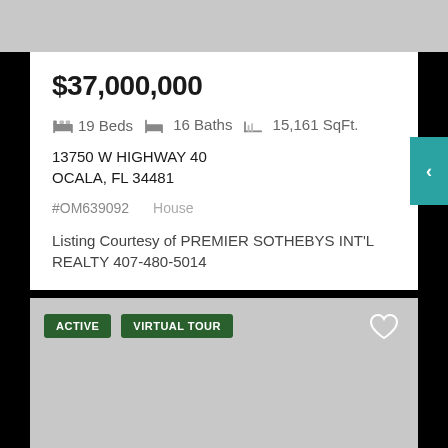$37,000,000
19 Beds  16 Baths  15,161 SqFt.
13750 W HIGHWAY 40
OCALA, FL 34481
#OM639092    House
Listing Courtesy of PREMIER SOTHEBYS INT'L REALTY 407-480-5014
ACTIVE
VIRTUAL TOUR